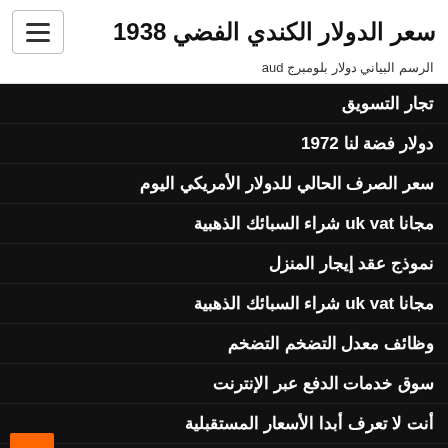سعر الدولار الكندي الفضي 1938
الرسم البياني دولار بلومبرج aud
تجار التسويق
دولار فضة لنا 1972
سعر الصرف الحالي للدولار الأمريكي اليوم
مجانا uk vat شراء السبائك الذهبية
نموذج عقد إيجار المنزل
مجانا uk vat شراء السبائك الذهبية
وظائف معدل التضخم التضخم
سوق خدمات الدفع عبر الإنترنت
أنت لا تعرف أبدا الأسعار المستقبلية
محول مخطط المنطقة الزمنية